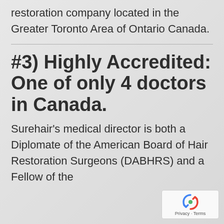restoration company located in the Greater Toronto Area of Ontario Canada.
#3) Highly Accredited: One of only 4 doctors in Canada.
Surehair's medical director is both a Diplomate of the American Board of Hair Restoration Surgeons (DABHRS) and a Fellow of the
[Figure (logo): reCAPTCHA badge with Privacy and Terms text]